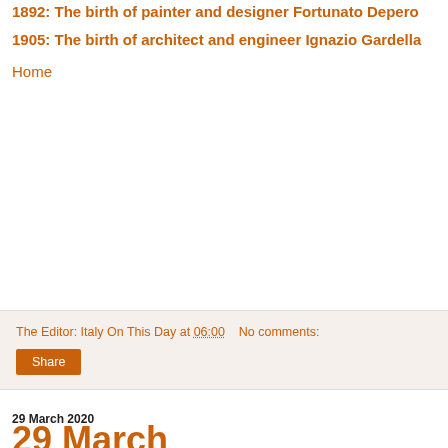1892: The birth of painter and designer Fortunato Depero
1905: The birth of architect and engineer Ignazio Gardella
Home
The Editor: Italy On This Day at 06:00    No comments:
Share
29 March 2020
29 March